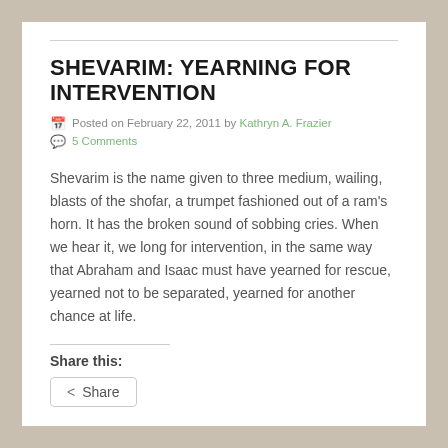SHEVARIM: YEARNING FOR INTERVENTION
Posted on February 22, 2011 by Kathryn A. Frazier
5 Comments
Shevarim is the name given to three medium, wailing, blasts of the shofar, a trumpet fashioned out of a ram's horn. It has the broken sound of sobbing cries. When we hear it, we long for intervention, in the same way that Abraham and Isaac must have yearned for rescue, yearned not to be separated, yearned for another chance at life.
Share this:
Share